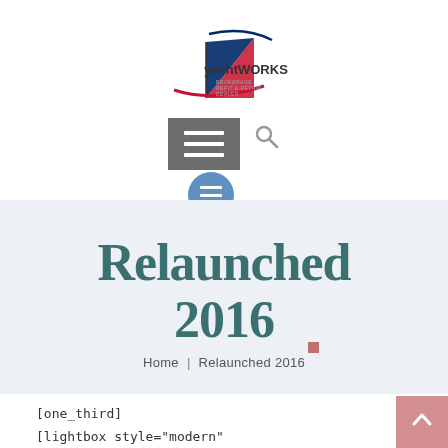[Figure (logo): yachtWORKS logo with stylized sailboat design in red, white and blue with tagline text]
[Figure (screenshot): Navigation bar with hamburger menu button (gray rectangle with three white lines), search icon, and blue circular hamburger menu below]
Relaunched 2016
Home | Relaunched 2016
[one_third]
[lightbox style="modern"